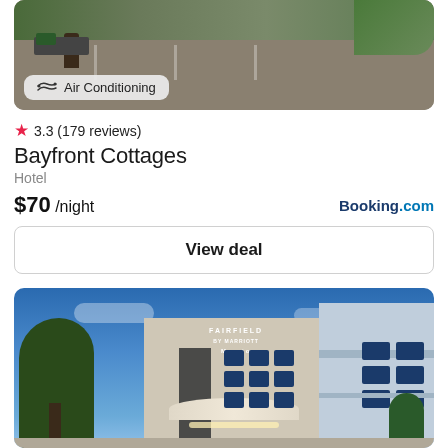[Figure (photo): Top portion of a hotel parking lot/exterior photo with an 'Air Conditioning' amenity badge overlay]
3.3 (179 reviews)
Bayfront Cottages
Hotel
$70 /night
Booking.com
View deal
[Figure (photo): Exterior photo of Fairfield by Marriott hotel building at dusk with blue sky, trees, and illuminated entrance canopy]